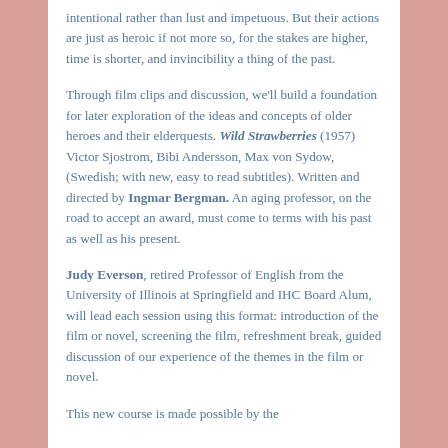intentional rather than lust and impetuous. But their actions are just as heroic if not more so, for the stakes are higher, time is shorter, and invincibility a thing of the past.
Through film clips and discussion, we'll build a foundation for later exploration of the ideas and concepts of older heroes and their elderquests. Wild Strawberries (1957) Victor Sjostrom, Bibi Andersson, Max von Sydow, (Swedish; with new, easy to read subtitles). Written and directed by Ingmar Bergman. An aging professor, on the road to accept an award, must come to terms with his past as well as his present.
Judy Everson, retired Professor of English from the University of Illinois at Springfield and IHC Board Alum, will lead each session using this format: introduction of the film or novel, screening the film, refreshment break, guided discussion of our experience of the themes in the film or novel.
This new course is made possible by the